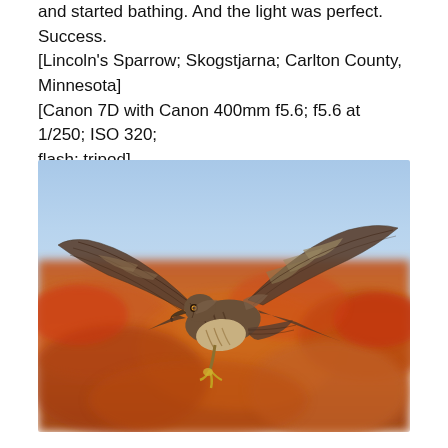and started bathing. And the light was perfect. Success. [Lincoln's Sparrow; Skogstjarna; Carlton County, Minnesota] [Canon 7D with Canon 400mm f5.6; f5.6 at 1/250; ISO 320; flash; tripod]
[Figure (photo): A hawk or Northern Harrier in flight against a blurred background of autumn foliage in orange and red tones, with blue sky above. The bird is photographed mid-flight with wings spread, talons visible, brown and white streaked plumage.]